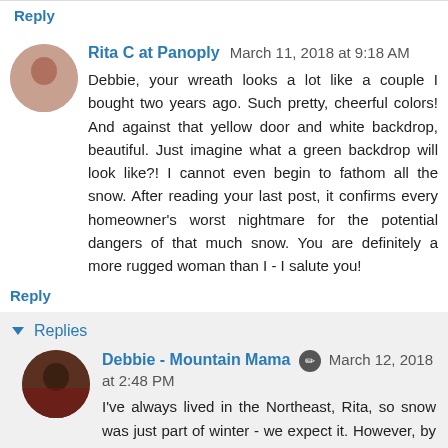Reply
Rita C at Panoply March 11, 2018 at 9:18 AM
Debbie, your wreath looks a lot like a couple I bought two years ago. Such pretty, cheerful colors! And against that yellow door and white backdrop, beautiful. Just imagine what a green backdrop will look like?! I cannot even begin to fathom all the snow. After reading your last post, it confirms every homeowner's worst nightmare for the potential dangers of that much snow. You are definitely a more rugged woman than I - I salute you!
Reply
▼ Replies
Debbie - Mountain Mama March 12, 2018 at 2:48 PM
I've always lived in the Northeast, Rita, so snow was just part of winter - we expect it. However, by this time in March I'm usually ready for it to ease